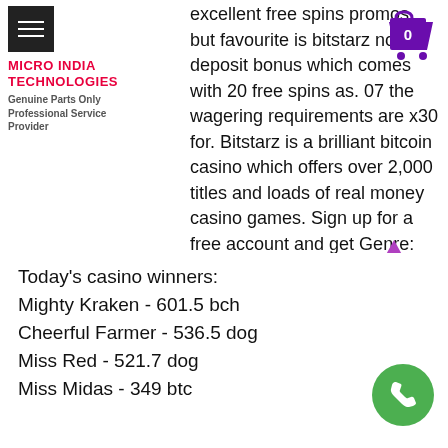MICRO INDIA TECHNOLOGIES — Genuine Parts Only Professional Service Provider
excellent free spins promos, but favourite is bitstarz no deposit bonus which comes with 20 free spins as. 07 the wagering requirements are x30 for. Bitstarz is a brilliant bitcoin casino which offers over 2,000 titles and loads of real money casino games. Sign up for a free account and get Genre: arcade Platform: iOS, Android Payment Methods: Bitcoin. PokemonGo fans would love Takara game which also suggests real BitCoin prizes. The main goal of the game is to communicate with other players. One of them hides satoshi on the map and other players search for it using different approaches, bitstarz 30 no deposit spins.
Today's casino winners:
Mighty Kraken - 601.5 bch
Cheerful Farmer - 536.5 dog
Miss Red - 521.7 dog
Miss Midas - 349 btc